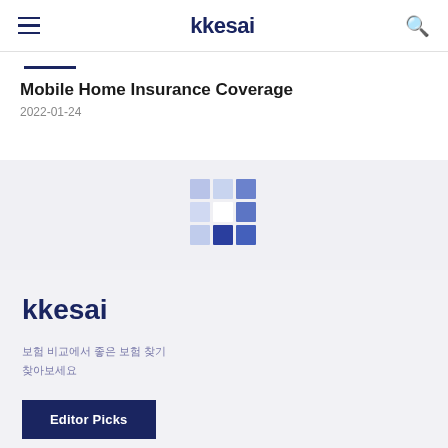kkesai
Mobile Home Insurance Coverage
2022-01-24
[Figure (logo): kkesai brand logo grid made of blue squares of varying shades]
kkesai
보험 비교에서 좋은 보험 찾기
찾아보세요
Editor Picks